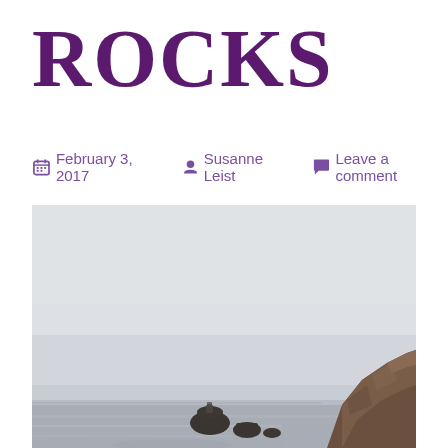ROCKS
February 3, 2017  Susanne Leist  Leave a comment
[Figure (photo): Coastal landscape photograph showing rocky sea stacks and a large brown rock cliff on the right, with a grey overcast sky and ocean water visible.]